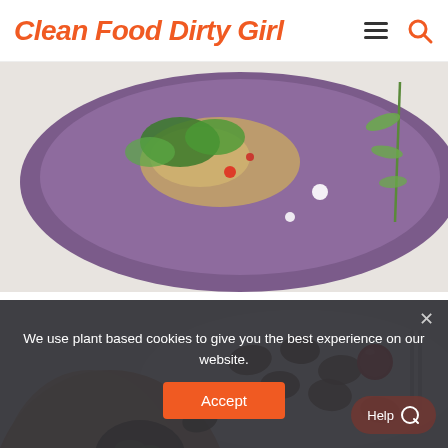Clean Food Dirty Girl
[Figure (photo): Top-down view of a purple plate or tray with quinoa salad, herbs (basil, dill), and garnishes on a white surface. A sprig of dill is visible to the right.]
The Environmental Impact of Our Food Choices + Blanched Chard Dolmas
[Figure (photo): Close-up photo of a hand holding a small round dolma (stuffed chard). More dolmas and cherry tomatoes are visible in the blurred background on a white plate.]
We use plant based cookies to give you the best experience on our website.